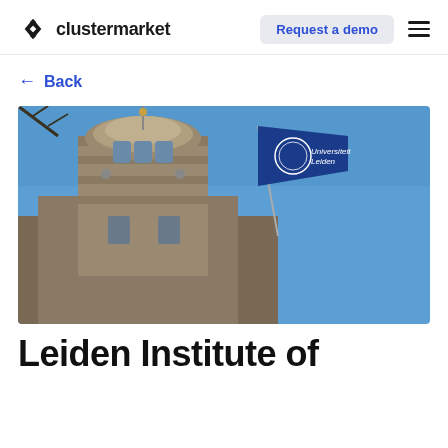clustermarket | Request a demo
← Back
[Figure (photo): Photograph looking up at a historic stone church tower against a blue sky, with a blue Universiteit Leiden flag flying on a pole in the foreground right.]
Leiden Institute of